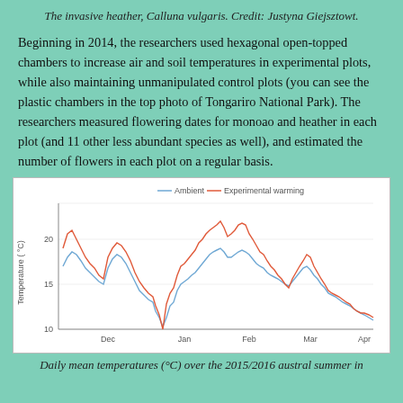The invasive heather, Calluna vulgaris. Credit: Justyna Giejsztowt.
Beginning in 2014, the researchers used hexagonal open-topped chambers to increase air and soil temperatures in experimental plots, while also maintaining unmanipulated control plots (you can see the plastic chambers in the top photo of Tongariro National Park). The researchers measured flowering dates for monoao and heather in each plot (and 11 other less abundant species as well), and estimated the number of flowers in each plot on a regular basis.
[Figure (line-chart): Daily mean temperatures over 2015/2016 austral summer showing Ambient (blue) and Experimental warming (red) lines across Dec, Jan, Feb, Mar, Apr. Y-axis ranges from about 10 to 25°C with tick marks at 10, 15, 20.]
Daily mean temperatures (°C) over the 2015/2016 austral summer in